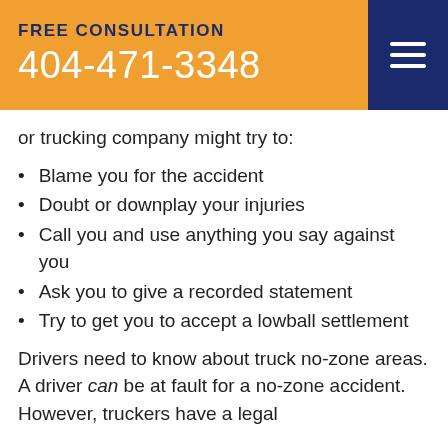FREE CONSULTATION
404-471-3348
or trucking company might try to:
Blame you for the accident
Doubt or downplay your injuries
Call you and use anything you say against you
Ask you to give a recorded statement
Try to get you to accept a lowball settlement
Drivers need to know about truck no-zone areas. A driver can be at fault for a no-zone accident. However, truckers have a legal